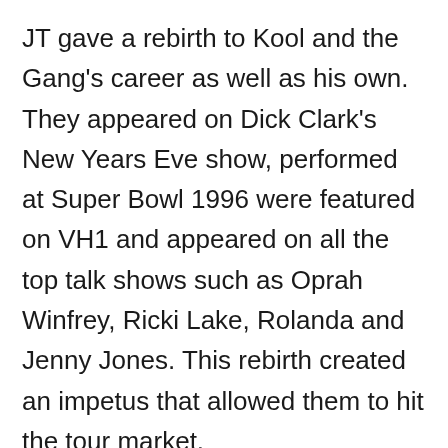JT gave a rebirth to Kool and the Gang's career as well as his own. They appeared on Dick Clark's New Years Eve show, performed at Super Bowl 1996 were featured on VH1 and appeared on all the top talk shows such as Oprah Winfrey, Ricki Lake, Rolanda and Jenny Jones. This rebirth created an impetus that allowed them to hit the tour market.
In 1999 JT completed his reunion with Kool and the Gang. Now JT focuses his energy on his career as an entertainer and company president. He has worked with many top artists, musicians and producers. His loyalty to his colleagues,